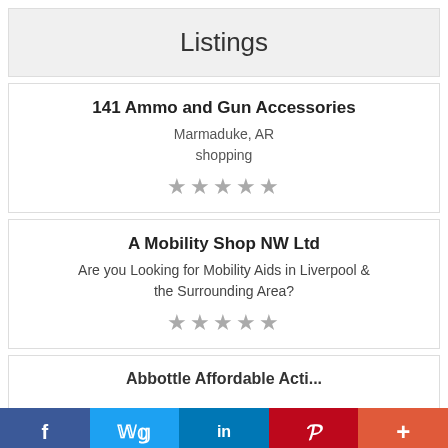Listings
141 Ammo and Gun Accessories
Marmaduke, AR
shopping
★★★★★
A Mobility Shop NW Ltd
Are you Looking for Mobility Aids in Liverpool & the Surrounding Area?
★★★★★
Abbottle Affordable Acti...